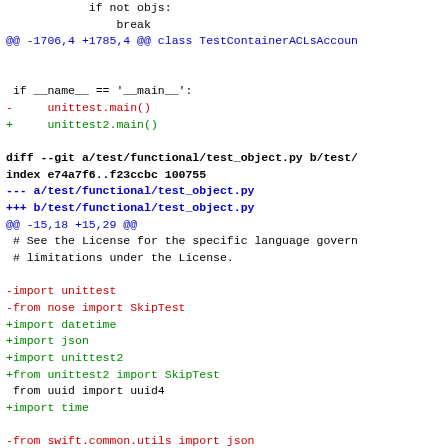Git diff code snippet showing changes to test files including test_object.py imports and class modifications